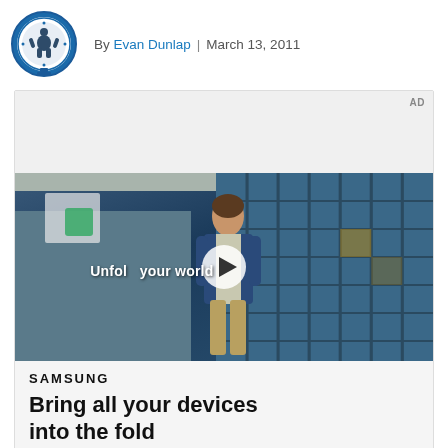By Evan Dunlap | March 13, 2011
[Figure (screenshot): Samsung advertisement featuring a video still of a young man in a denim jacket standing in a cafeteria with a blue grid window behind him, with text 'Unfold your world' and a play button overlay. Below the video: Samsung logo, tagline 'Bring all your devices into the fold', and a LEARN MORE button.]
AD
SAMSUNG
Bring all your devices into the fold
LEARN MORE